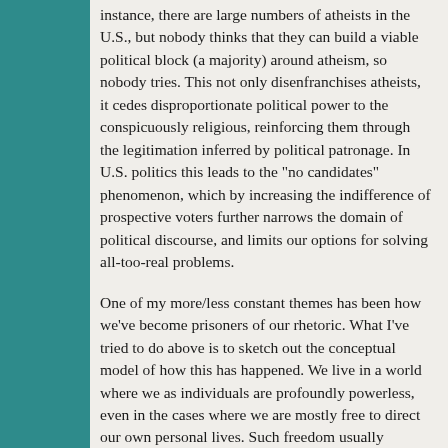instance, there are large numbers of atheists in the U.S., but nobody thinks that they can build a viable political block (a majority) around atheism, so nobody tries. This not only disenfranchises atheists, it cedes disproportionate political power to the conspicuously religious, reinforcing them through the legitimation inferred by political patronage. In U.S. politics this leads to the "no candidates" phenomenon, which by increasing the indifference of prospective voters further narrows the domain of political discourse, and limits our options for solving all-too-real problems.
One of my more/less constant themes has been how we've become prisoners of our rhetoric. What I've tried to do above is to sketch out the conceptual model of how this has happened. We live in a world where we as individuals are profoundly powerless, even in the cases where we are mostly free to direct our own personal lives. Such freedom usually depends on the tacit accepteance of powerlessness: people are free to mind their own business, because it doesn't make any real difference to others, least of all the elites (who are at most relatively powerful, by virtue of their ability to manipulate symbols that are